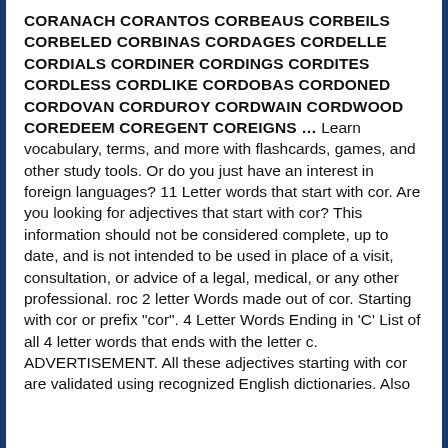CORANACH CORANTOS CORBEAUS CORBEILS CORBELED CORBINAS CORDAGES CORDELLE CORDIALS CORDINER CORDINGS CORDITES CORDLESS CORDLIKE CORDOBAS CORDONED CORDOVAN CORDUROY CORDWAIN CORDWOOD COREDEEM COREGENT COREIGNS … Learn vocabulary, terms, and more with flashcards, games, and other study tools. Or do you just have an interest in foreign languages? 11 Letter words that start with cor. Are you looking for adjectives that start with cor? This information should not be considered complete, up to date, and is not intended to be used in place of a visit, consultation, or advice of a legal, medical, or any other professional. roc 2 letter Words made out of cor. Starting with cor or prefix "cor". 4 Letter Words Ending in 'C' List of all 4 letter words that ends with the letter c. ADVERTISEMENT. All these adjectives starting with cor are validated using recognized English dictionaries. Also